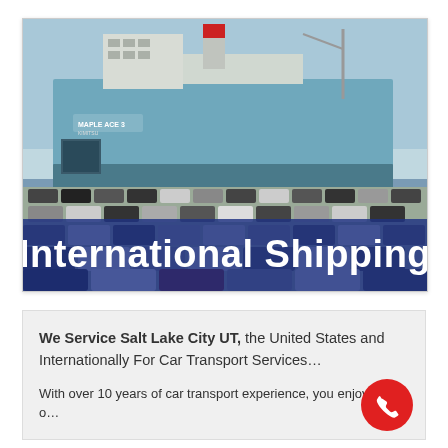[Figure (photo): Photo of a large car carrier ship (RoRo vessel) docked at port with hundreds of cars parked in the foreground. A blue banner overlay at the bottom reads 'International Shipping' in bold white text.]
We Service Salt Lake City UT, the United States and Internationally For Car Transport Services…
With over 10 years of car transport experience, you enjoy peace o…